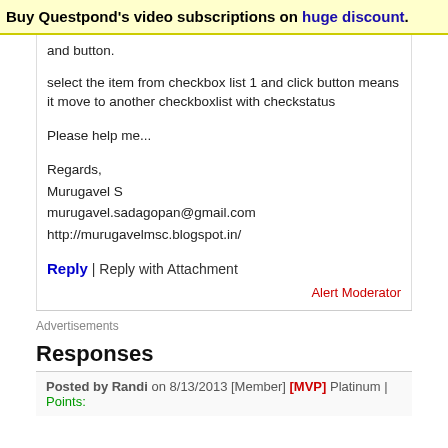Buy Questpond's video subscriptions on huge discount.
and button.
select the item from checkbox list 1 and click button means it move to another checkboxlist with checkstatus
Please help me...
Regards,
Murugavel S
murugavel.sadagopan@gmail.com
http://murugavelmsc.blogspot.in/
Reply | Reply with Attachment
Alert Moderator
Advertisements
Responses
Posted by Randi on 8/13/2013 [Member] [MVP] Platinum | Points: